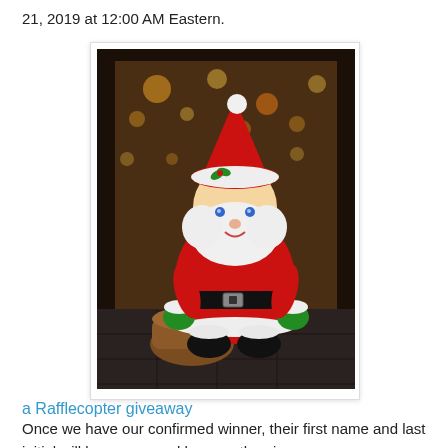21, 2019 at 12:00 AM Eastern.
[Figure (photo): A Santa Claus stuffed toy/plush doll sitting on a dark tile floor in front of a fireplace with string lights in the background. The doll wears a red Santa suit with black belt and green gloves, has a white fluffy beard, and holds a brown bag.]
a Rafflecopter giveaway
Once we have our confirmed winner, their first name and last initial will be announced here on the giveaway page.   Remember, the more entries you have, the higher your odds of winning becomes.  The more entry tasks